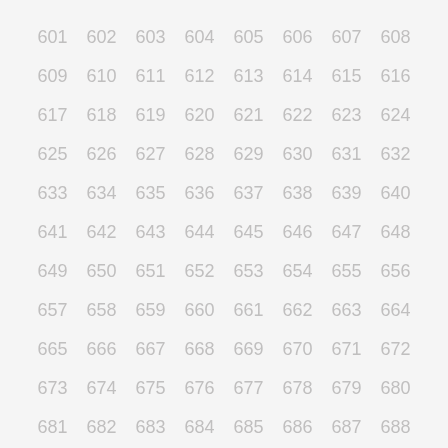601 602 603 604 605 606 607 608 609 610 611 612 613 614 615 616 617 618 619 620 621 622 623 624 625 626 627 628 629 630 631 632 633 634 635 636 637 638 639 640 641 642 643 644 645 646 647 648 649 650 651 652 653 654 655 656 657 658 659 660 661 662 663 664 665 666 667 668 669 670 671 672 673 674 675 676 677 678 679 680 681 682 683 684 685 686 687 688 689 690 691 692 693 694 695 696 697 698 699 700 701 702 703 704